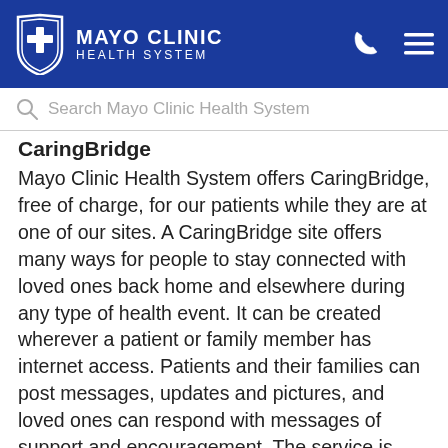MAYO CLINIC HEALTH SYSTEM
Search Mayo Clinic Health System
CaringBridge
Mayo Clinic Health System offers CaringBridge, free of charge, for our patients while they are at one of our sites. A CaringBridge site offers many ways for people to stay connected with loved ones back home and elsewhere during any type of health event. It can be created wherever a patient or family member has internet access. Patients and their families can post messages, updates and pictures, and loved ones can respond with messages of support and encouragement. The service is confidential, secure and private and is accessible only to individuals selected by the patient or loved one. Users have access to multiple privacy settings and can be assured that personal data is protected and will not be sold.